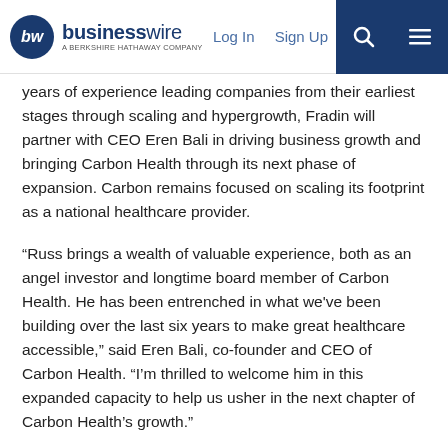businesswire — A BERKSHIRE HATHAWAY COMPANY | Log In | Sign Up
years of experience leading companies from their earliest stages through scaling and hypergrowth, Fradin will partner with CEO Eren Bali in driving business growth and bringing Carbon Health through its next phase of expansion. Carbon remains focused on scaling its footprint as a national healthcare provider.
“Russ brings a wealth of valuable experience, both as an angel investor and longtime board member of Carbon Health. He has been entrenched in what we've been building over the last six years to make great healthcare accessible,” said Eren Bali, co-founder and CEO of Carbon Health. “I’m thrilled to welcome him in this expanded capacity to help us usher in the next chapter of Carbon Health’s growth.”
Fradin co-founded and led two successful technology companies Dynamic Signal, where he currently serves as Chairman, and Adify, which was acquired by Cox Enterprises. Fradin has spent his career both driving and advising companies on growth and financial strategies, business development and operational excellence. He currently holds a seat on the CoachArt and Leanplum boards of